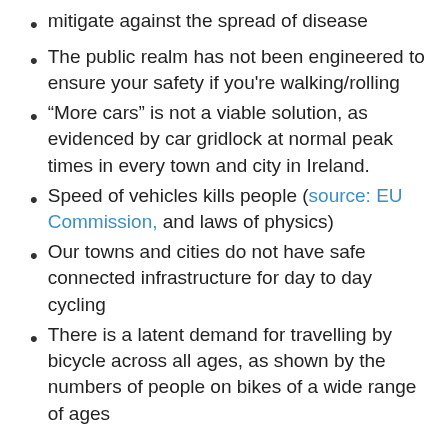mitigate against the spread of disease
The public realm has not been engineered to ensure your safety if you're walking/rolling
“More cars” is not a viable solution, as evidenced by car gridlock at normal peak times in every town and city in Ireland.
Speed of vehicles kills people (source: EU Commission, and laws of physics)
Our towns and cities do not have safe connected infrastructure for day to day cycling
There is a latent demand for travelling by bicycle across all ages, as shown by the numbers of people on bikes of a wide range of ages